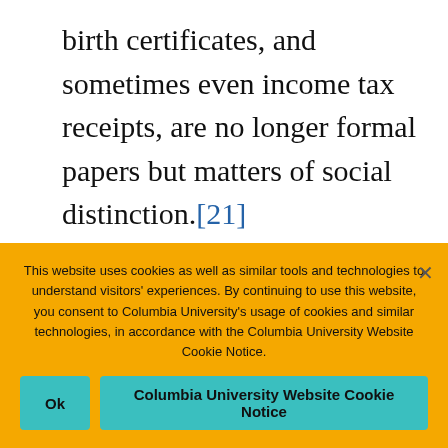birth certificates, and sometimes even income tax receipts, are no longer formal papers but matters of social distinction.[21]
Upon reading this passage, it gives me pause to think of a world where being human is not
This website uses cookies as well as similar tools and technologies to understand visitors' experiences. By continuing to use this website, you consent to Columbia University's usage of cookies and similar technologies, in accordance with the Columbia University Website Cookie Notice.